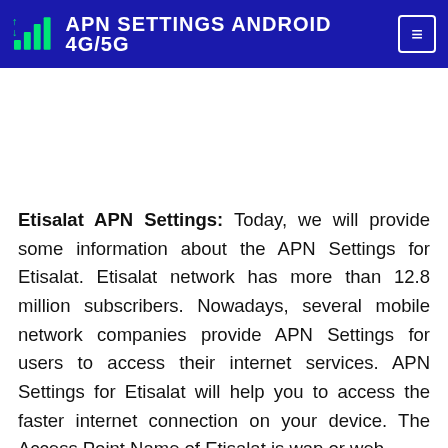APN SETTINGS ANDROID 4G/5G
Etisalat APN Settings: Today, we will provide some information about the APN Settings for Etisalat. Etisalat network has more than 12.8 million subscribers. Nowadays, several mobile network companies provide APN Settings for users to access their internet services. APN Settings for Etisalat will help you to access the faster internet connection on your device. The Access Point Name of Etisalat is wap or web.